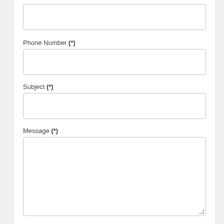[Figure (screenshot): A web contact form showing partially visible fields: an unlabeled input at top, Phone Number (*) input, Subject (*) input, Message (*) textarea, and a Choose File button with 'No file chosen' text.]
Phone Number (*)
Subject (*)
Message (*)
Choose File   No file chosen